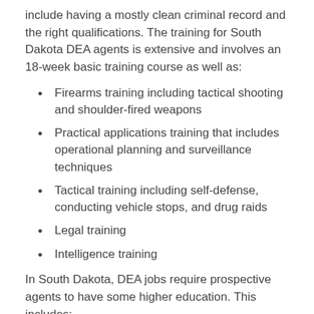include having a mostly clean criminal record and the right qualifications. The training for South Dakota DEA agents is extensive and involves an 18-week basic training course as well as:
Firearms training including tactical shooting and shoulder-fired weapons
Practical applications training that includes operational planning and surveillance techniques
Tactical training including self-defense, conducting vehicle stops, and drug raids
Legal training
Intelligence training
In South Dakota, DEA jobs require prospective agents to have some higher education. This includes:
B.A. or M.A. in a relevant field